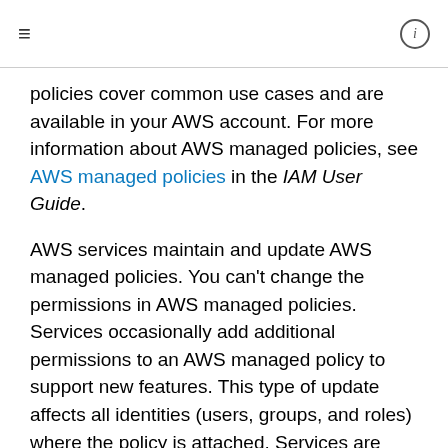≡   ⓘ
policies cover common use cases and are available in your AWS account. For more information about AWS managed policies, see AWS managed policies in the IAM User Guide.
AWS services maintain and update AWS managed policies. You can't change the permissions in AWS managed policies. Services occasionally add additional permissions to an AWS managed policy to support new features. This type of update affects all identities (users, groups, and roles) where the policy is attached. Services are most likely to update an AWS managed policy when a new feature is launched or when new operations become available. Services do not remove permissions from an AWS managed policy, so policy updates won't break your existing permissions.
Additionally, AWS supports managed policies for job